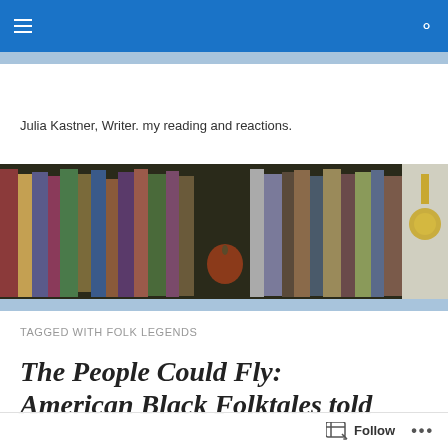Julia Kastner, Writer. my reading and reactions.
[Figure (photo): Photograph of a bookshelf filled with colorful books of various sizes]
TAGGED WITH FOLK LEGENDS
The People Could Fly: American Black Folktales told
Follow